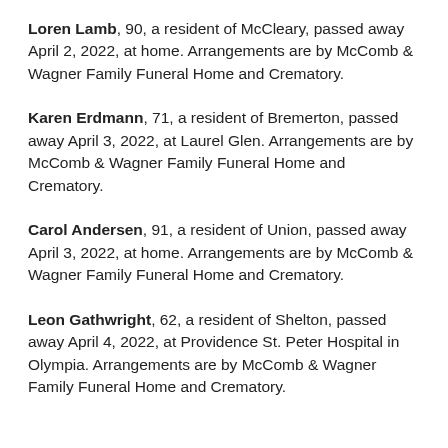Loren Lamb, 90, a resident of McCleary, passed away April 2, 2022, at home. Arrangements are by McComb & Wagner Family Funeral Home and Crematory.
Karen Erdmann, 71, a resident of Bremerton, passed away April 3, 2022, at Laurel Glen. Arrangements are by McComb & Wagner Family Funeral Home and Crematory.
Carol Andersen, 91, a resident of Union, passed away April 3, 2022, at home. Arrangements are by McComb & Wagner Family Funeral Home and Crematory.
Leon Gathwright, 62, a resident of Shelton, passed away April 4, 2022, at Providence St. Peter Hospital in Olympia. Arrangements are by McComb & Wagner Family Funeral Home and Crematory.